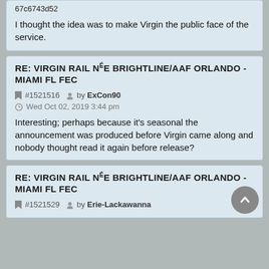67c6743d52
I thought the idea was to make Virgin the public face of the service.
RE: VIRGIN RAIL NéE BRIGHTLINE/AAF ORLANDO - MIAMI FL FEC
#1521516  by ExCon90  Wed Oct 02, 2019 3:44 pm
Interesting; perhaps because it's seasonal the announcement was produced before Virgin came along and nobody thought read it again before release?
RE: VIRGIN RAIL NéE BRIGHTLINE/AAF ORLANDO - MIAMI FL FEC
#1521529  by Erie-Lackawanna